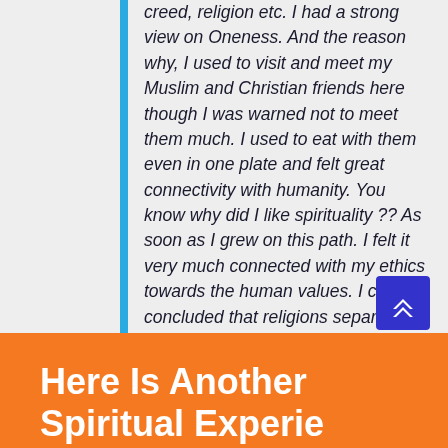creed, religion etc. I had a strong view on Oneness. And the reason why, I used to visit and meet my Muslim and Christian friends here though I was warned not to meet them much. I used to eat with them even in one plate and felt great connectivity with humanity. You know why did I like spirituality ?? As soon as I grew on this path. I felt it very much connected with my ethics towards the human values. I can concluded that religions separate humanity whereas spirituality unites.
Anyway, I must say that we are just witnessing the phase of the Divine Transformation but that has already been done.
Here Is Another Spiritual Experience